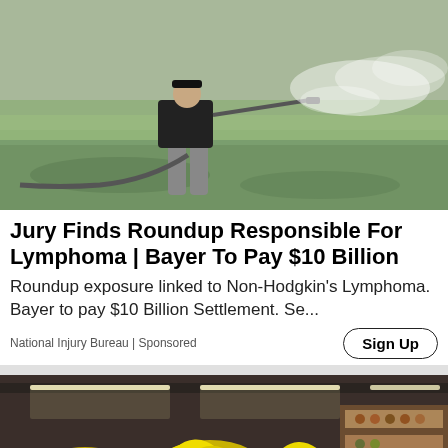[Figure (photo): Person in boots and dark clothing spraying pesticide/herbicide over a flooded field, mist visible in the air]
Jury Finds Roundup Responsible For Lymphoma | Bayer To Pay $10 Billion
Roundup exposure linked to Non-Hodgkin's Lymphoma. Bayer to pay $10 Billion Settlement. Se...
National Injury Bureau | Sponsored
[Figure (photo): Interior of a grocery store produce section with bunches of bananas displayed prominently, other fruits and vegetables visible, shelves in background]